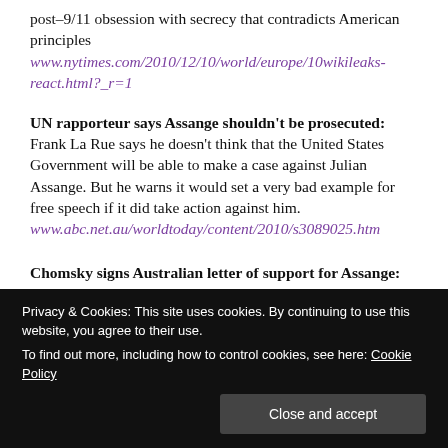post–9/11 obsession with secrecy that contradicts American principles www.nytimes.com/2010/12/10/world/europe/10wikileaks-react.html?_r=1
UN rapporteur says Assange shouldn't be prosecuted: Frank La Rue says he doesn't think that the United States Government will be able to make a case against Julian Assange. But he warns it would set a very bad example for free speech if it did take action against him. www.abc.net.au/worldtoday/content/2010/s3089025.htm
Chomsky signs Australian letter of support for Assange:
bit.ly/e9oH8B
Privacy & Cookies: This site uses cookies. By continuing to use this website, you agree to their use.
To find out more, including how to control cookies, see here: Cookie Policy